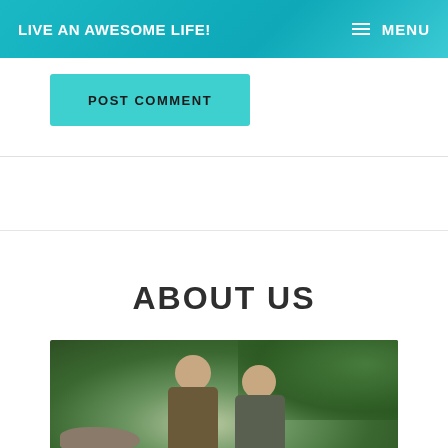LIVE AN AWESOME LIFE!   ≡ MENU
POST COMMENT
ABOUT US
[Figure (photo): Two smiling people (a man and a woman) posing outdoors with lush green forest/trees and rocky terrain in the background.]